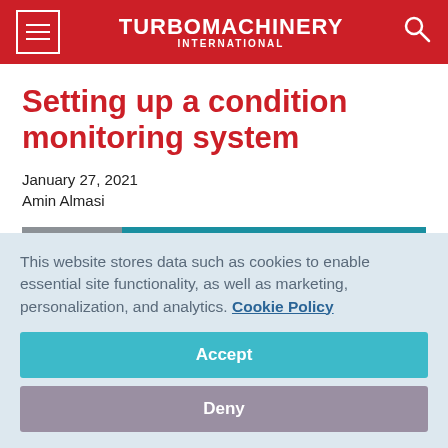TURBOMACHINERY INTERNATIONAL
Setting up a condition monitoring system
January 27, 2021
Amin Almasi
[Figure (photo): Partial image of turbomachinery equipment showing metallic components against a teal background]
This website stores data such as cookies to enable essential site functionality, as well as marketing, personalization, and analytics. Cookie Policy
Accept
Deny